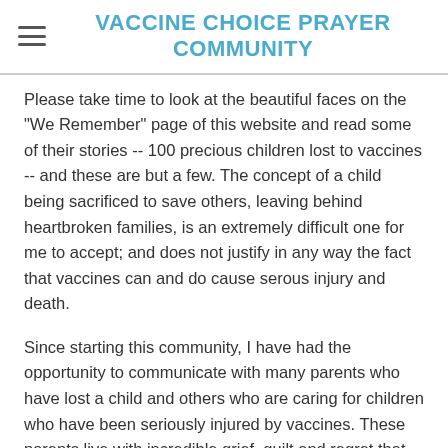VACCINE CHOICE PRAYER COMMUNITY
Please take time to look at the beautiful faces on the "We Remember" page of this website and read some of their stories -- 100 precious children lost to vaccines -- and these are but a few. The concept of a child being sacrificed to save others, leaving behind heartbroken families, is an extremely difficult one for me to accept; and does not justify in any way the fact that vaccines can and do cause serous injury and death.
Since starting this community, I have had the opportunity to communicate with many parents who have lost a child and others who are caring for children who have been seriously injured by vaccines. These parents live with incredible grief, guilt and regret that they had not been better informed. When they allowed their children to be vaccinated, they were not made aware that serious injury or death might